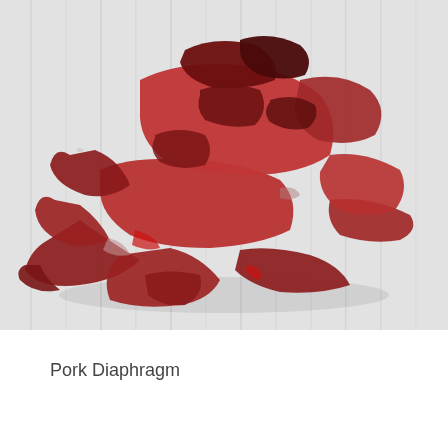[Figure (photo): A pile of raw pork diaphragm meat pieces with dark red and purple coloring, arranged on a white wooden background.]
Pork Diaphragm